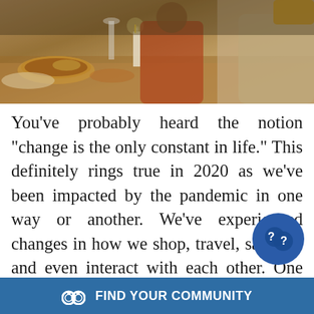[Figure (photo): Family gathered around a dining table with food, candles, and holiday meal setting. Adults and child visible, warm tones.]
You've probably heard the notion "change is the only constant in life." This definitely rings true in 2020 as we've been impacted by the pandemic in one way or another. We've experienced changes in how we shop, travel, sanitize, and even interact with each other. One day we'll be able to freely share hugs and handshakes again. For now, what we can do is fix our attention on the positive things around us. In fact, the ability to spot silver linings has been proven to
FIND YOUR COMMUNITY